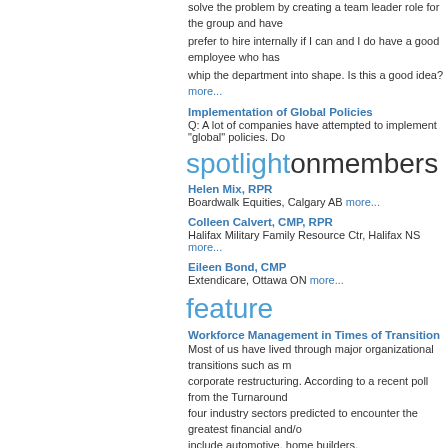solve the problem by creating a team leader role for the group and have... prefer to hire internally if I can and I do have a good employee who has... whip the department into shape. Is this a good idea? more...
Implementation of Global Policies
Q: A lot of companies have attempted to implement "global" policies. Do...
spotlightonmembers
Helen Mix, RPR
Boardwalk Equities, Calgary AB more...
Colleen Calvert, CMP, RPR
Halifax Military Family Resource Ctr, Halifax NS more...
Eileen Bond, CMP
Extendicare, Ottawa ON more...
feature
Workforce Management in Times of Transition
Most of us have lived through major organizational transitions such as m... corporate restructuring. According to a recent poll from the Turnaround... four industry sectors predicted to encounter the greatest financial and/o... include automotive, home builders, construction/contractors and manufa...
Codependency in the Workplace
What is codependency, what does it mean and how does this apply to t... codependency was originally developed in the addictions field in referen... alcoholic (later expanded to any addict) in ones midst. A common defini... one is codependent if one's sense of well-being has to be fulfilled main... because of a paucity of one's own inner resources. more...
submissionsplease
As this online newsletter is published quarterly, we need articles, ques... the Move announcements and other material of interest to our fellow m... please contact our Members Quarterly Editors: Kate Moore, RPR at m... Richards, RPR, CMP at shalini@workplace.ca